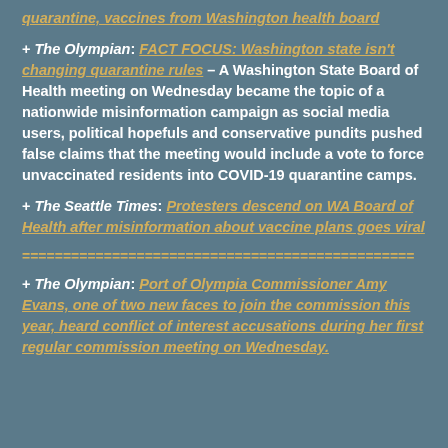quarantine, vaccines from Washington health board
+ The Olympian: FACT FOCUS: Washington state isn't changing quarantine rules – A Washington State Board of Health meeting on Wednesday became the topic of a nationwide misinformation campaign as social media users, political hopefuls and conservative pundits pushed false claims that the meeting would include a vote to force unvaccinated residents into COVID-19 quarantine camps.
+ The Seattle Times: Protesters descend on WA Board of Health after misinformation about vaccine plans goes viral
================================================
+ The Olympian: Port of Olympia Commissioner Amy Evans, one of two new faces to join the commission this year, heard conflict of interest accusations during her first regular commission meeting on Wednesday.